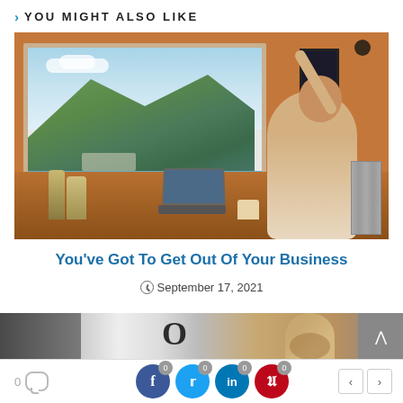> YOU MIGHT ALSO LIKE
[Figure (photo): Man sitting at desk near window with mountain and lake view, using a smartphone while laptop is open on the desk]
You've Got To Get Out Of Your Business
September 17, 2021
[Figure (photo): Partial view of second article thumbnail showing a person and Oprah magazine letter O]
0 comments, share buttons for Facebook (0), Twitter (0), LinkedIn (0), Pinterest (0), navigation arrows